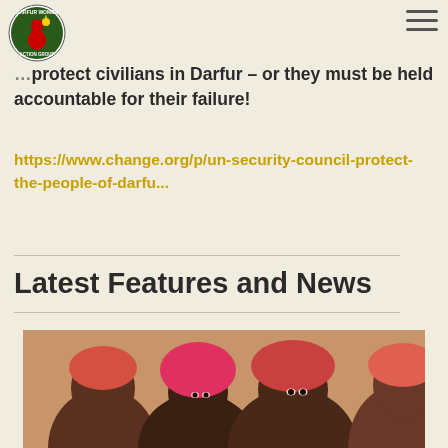Darfur Women Action Group logo and navigation
…protect civilians in Darfur – or they must be held accountable for their failure!
https://www.change.org/p/un-security-council-protect-the-people-of-darfu...
Latest Features and News
[Figure (photo): Group of women wearing colorful headscarves (pink and red), looking forward]